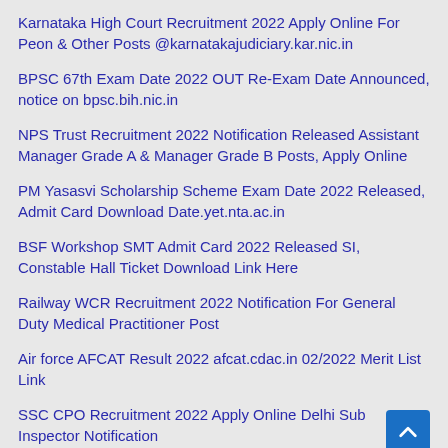Karnataka High Court Recruitment 2022 Apply Online For Peon & Other Posts @karnatakajudiciary.kar.nic.in
BPSC 67th Exam Date 2022 OUT Re-Exam Date Announced, notice on bpsc.bih.nic.in
NPS Trust Recruitment 2022 Notification Released Assistant Manager Grade A & Manager Grade B Posts, Apply Online
PM Yasasvi Scholarship Scheme Exam Date 2022 Released, Admit Card Download Date.yet.nta.ac.in
BSF Workshop SMT Admit Card 2022 Released SI, Constable Hall Ticket Download Link Here
Railway WCR Recruitment 2022 Notification For General Duty Medical Practitioner Post
Air force AFCAT Result 2022 afcat.cdac.in 02/2022 Merit List Link
SSC CPO Recruitment 2022 Apply Online Delhi Sub Inspector Notification